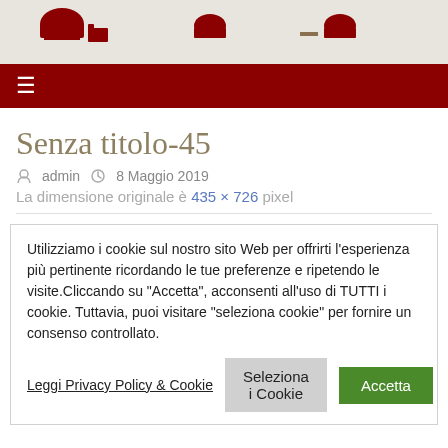[Figure (screenshot): Website header with dark red navigation bar and hamburger menu icon, plus partial logo icons at top]
Senza titolo-45
admin   8 Maggio 2019
La dimensione originale è 435 × 726 pixel
Utilizziamo i cookie sul nostro sito Web per offrirti l'esperienza più pertinente ricordando le tue preferenze e ripetendo le visite.Cliccando su "Accetta", acconsenti all'uso di TUTTI i cookie. Tuttavia, puoi visitare "seleziona cookie" per fornire un consenso controllato.
Leggi Privacy Policy & Cookie | Seleziona i Cookie | Accetta